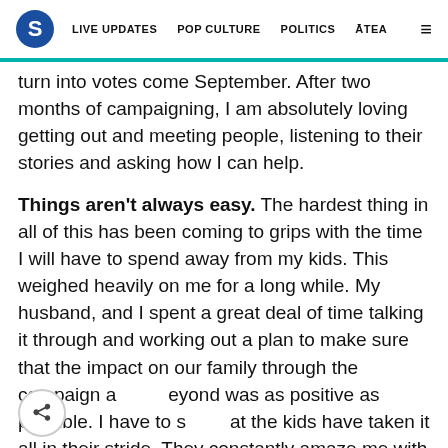S  LIVE UPDATES  POP CULTURE  POLITICS  ĀTEA  ≡
turn into votes come September. After two months of campaigning, I am absolutely loving getting out and meeting people, listening to their stories and asking how I can help.
Things aren't always easy. The hardest thing in all of this has been coming to grips with the time I will have to spend away from my kids. This weighed heavily on me for a long while. My husband, and I spent a great deal of time talking it through and working out a plan to make sure that the impact on our family through the campaign and beyond was as positive as possible. I have to say that the kids have taken it all in their stride. They constantly amaze me with their enthusiasm